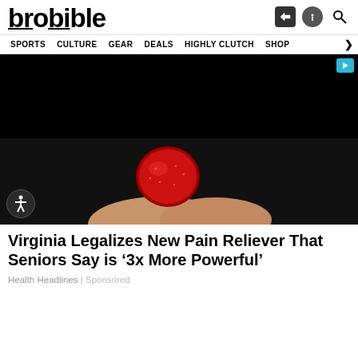brobible — SPORTS  CULTURE  GEAR  DEALS  HIGHLY CLUTCH  SHOP
[Figure (photo): A red sugary gummy candy held between fingers against a dark background, with a black advertisement area above it. Accessibility icon visible in bottom left of image.]
Virginia Legalizes New Pain Reliever That Seniors Say is ‘3x More Powerful’
Health Headlines | Sponsored